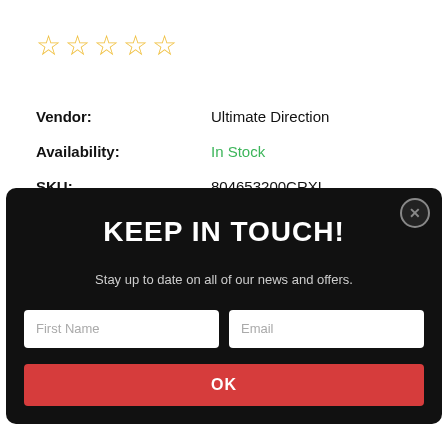[Figure (other): Five empty star rating icons in gold/yellow color]
Vendor: Ultimate Direction
Availability: In Stock
SKU: 804653200CRXL
[Figure (screenshot): Modal popup with black background: 'KEEP IN TOUCH!' heading, subtitle 'Stay up to date on all of our news and offers.', First Name and Email input fields, and an OK button in red.]